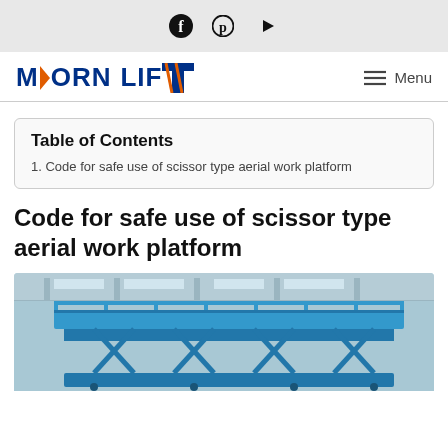Social icons: Facebook, Pinterest, YouTube
[Figure (logo): Morn Lift logo with orange triangle and blue text, Menu button with hamburger lines]
Table of Contents
1. Code for safe use of scissor type aerial work platform
Code for safe use of scissor type aerial work platform
[Figure (photo): Scissor type aerial work platform (blue) in an industrial warehouse building]